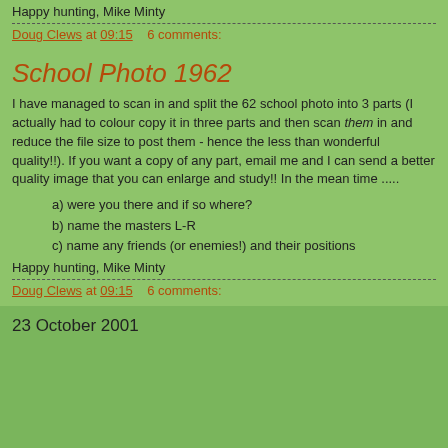Happy hunting, Mike Minty
Doug Clews at 09:15    6 comments:
School Photo 1962
I have managed to scan in and split the 62 school photo into 3 parts (I actually had to colour copy it in three parts and then scan them in and reduce the file size to post them - hence the less than wonderful quality!!). If you want a copy of any part, email me and I can send a better quality image that you can enlarge and study!! In the mean time .....
a) were you there and if so where?
b) name the masters L-R
c) name any friends (or enemies!) and their positions
Happy hunting, Mike Minty
Doug Clews at 09:15    6 comments:
23 October 2001